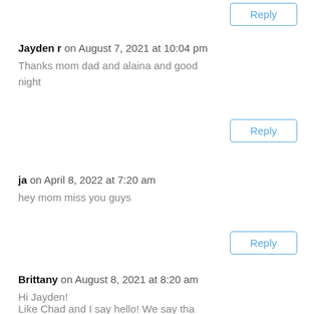Reply
Jayden r on August 7, 2021 at 10:04 pm
Thanks mom dad and alaina and good night
Reply
ja on April 8, 2022 at 7:20 am
hey mom miss you guys
Reply
Brittany on August 8, 2021 at 8:20 am
Hi Jayden!
Like Chad and I say hello! We say tha